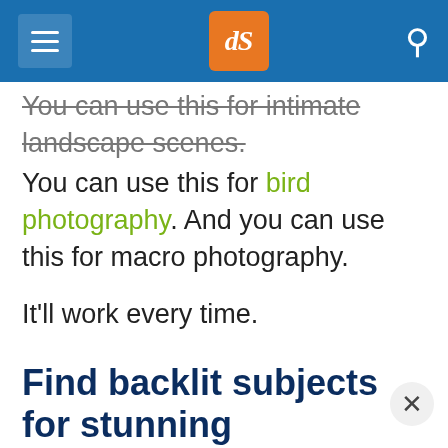dPS navigation header
You can use this for intimate landscape scenes. You can use this for bird photography. And you can use this for macro photography.
It'll work every time.
Find backlit subjects for stunning silhouettes
Backlit photography isn't all that common in nature photography.